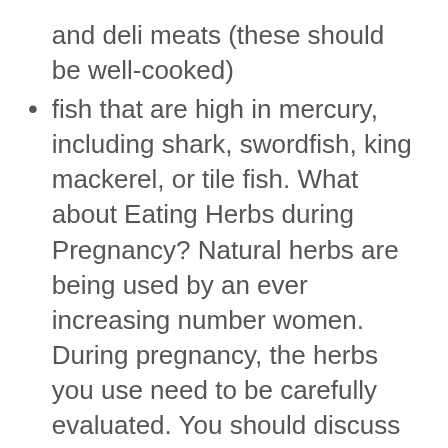and deli meats (these should be well-cooked)
fish that are high in mercury, including shark, swordfish, king mackerel, or tile fish. What about Eating Herbs during Pregnancy? Natural herbs are being used by an ever increasing number women. During pregnancy, the herbs you use need to be carefully evaluated. You should discuss with your health car provider the herbs you want to use since many have been shown to be very helpful herbs while other herbs can be a risk for your